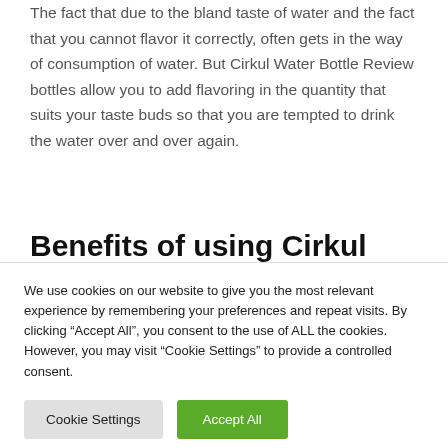The fact that due to the bland taste of water and the fact that you cannot flavor it correctly, often gets in the way of consumption of water. But Cirkul Water Bottle Review bottles allow you to add flavoring in the quantity that suits your taste buds so that you are tempted to drink the water over and over again.
Benefits of using Cirkul
We use cookies on our website to give you the most relevant experience by remembering your preferences and repeat visits. By clicking “Accept All”, you consent to the use of ALL the cookies. However, you may visit "Cookie Settings" to provide a controlled consent.